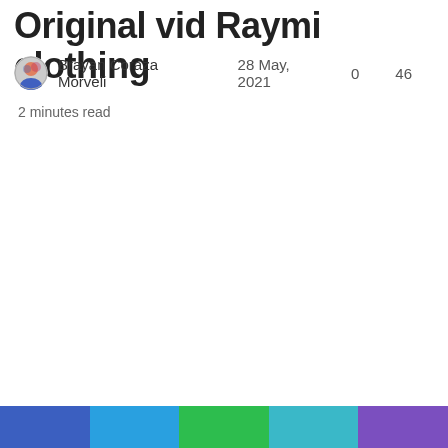Original vid Raymi clothing
Brayan Coraza Morveli   28 May, 2021   0   46
2 minutes read
[Figure (illustration): Colored horizontal bar at bottom of page with five colored segments: blue, cyan, green, teal, purple]